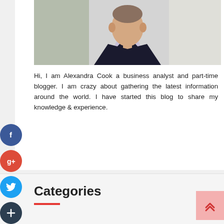[Figure (photo): Professional headshot of a man in a dark blazer and light shirt, cropped from chest up, photographed outdoors.]
Hi, I am Alexandra Cook a business analyst and part-time blogger. I am crazy about gathering the latest information around the world. I have started this blog to share my knowledge & experience.
Categories